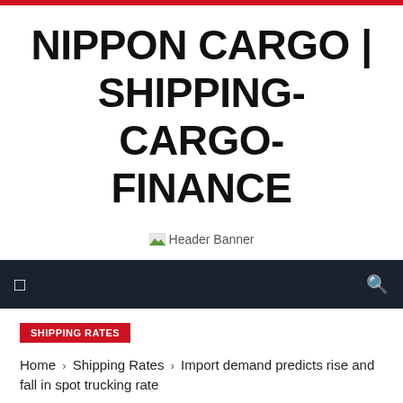NIPPON CARGO | SHIPPING-CARGO-FINANCE
[Figure (other): Header Banner placeholder image with small green icon]
SHIPPING RATES
Home › Shipping Rates › Import demand predicts rise and fall in spot trucking rate
IMPORT DEMAND PREDICTS RISE AND